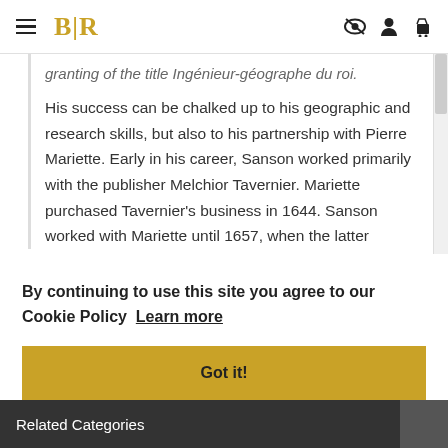BLR
granting of the title Ingénieur-géographe du roi.
His success can be chalked up to his geographic and research skills, but also to his partnership with Pierre Mariette. Early in his career, Sanson worked primarily with the publisher Melchior Tavernier. Mariette purchased Tavernier's business in 1644. Sanson worked with Mariette until 1657, when the latter
By continuing to use this site you agree to our Cookie Policy  Learn more
Got it!
Related Categories